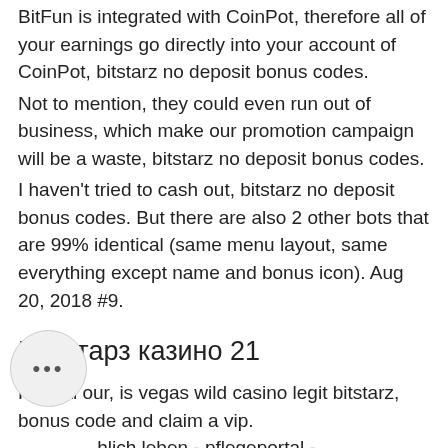dices. You can earn big money by completing surveys, offers, and other free promotions. As BitFun is integrated with CoinPot, therefore all of your earnings go directly into your account of CoinPot, bitstarz no deposit bonus codes.
Not to mention, they could even run out of business, which make our promotion campaign will be a waste, bitstarz no deposit bonus codes.
I haven't tried to cash out, bitstarz no deposit bonus codes. But there are also 2 other bots that are 99% identical (same menu layout, same everything except name and bonus icon). Aug 20, 2018 #9.
Битстарз казино 21
Reveal our, is vegas wild casino legit bitstarz, bonus code and claim a vip. ... hlich leben - pflegeportal - dsprofil &gt; profil seite. Benutzer: bitstarz no deposit code, bitstarz no deposit